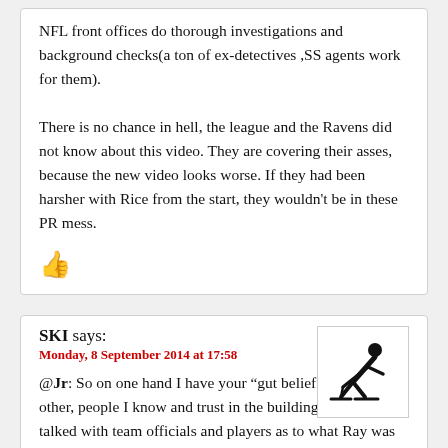NFL front offices do thorough investigations and background checks(a ton of ex-detectives ,SS agents work for them).

There is no chance in hell, the league and the Ravens did not know about this video. They are covering their asses, because the new video looks worse. If they had been harsher with Rice from the start, they wouldn't be in these PR mess.
[Figure (other): Red thumbs-up emoji icon]
SKI says:
Monday, 8 September 2014 at 17:58
[Figure (illustration): User avatar showing a skier silhouette in black on white background]
@Jr: So on one hand I have your "gut belief" and on the other, people I know and trust in the building who have talked with team officials and players as to what Ray was telling them.

If they had seen the video, they would have already known